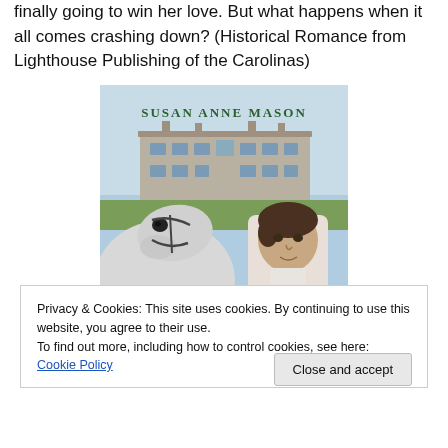finally going to win her love. But what happens when it all comes crashing down? (Historical Romance from Lighthouse Publishing of the Carolinas)
[Figure (photo): Book cover for a novel by Susan Anne Mason, showing a young man with a white horse in front of a large stone manor house. The author name 'SUSAN ANNE MASON' is printed at the top in green text.]
Privacy & Cookies: This site uses cookies. By continuing to use this website, you agree to their use.
To find out more, including how to control cookies, see here: Cookie Policy